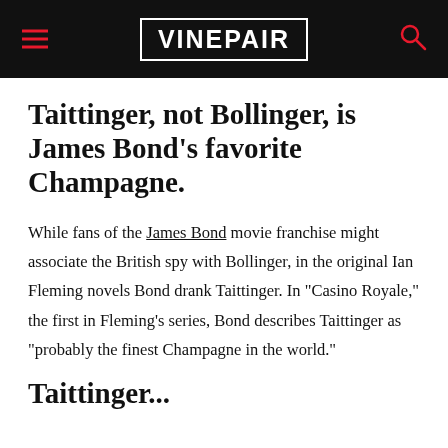VINEPAIR
Taittinger, not Bollinger, is James Bond’s favorite Champagne.
While fans of the James Bond movie franchise might associate the British spy with Bollinger, in the original Ian Fleming novels Bond drank Taittinger. In “Casino Royale,” the first in Fleming’s series, Bond describes Taittinger as “probably the finest Champagne in the world.”
Taittinger...